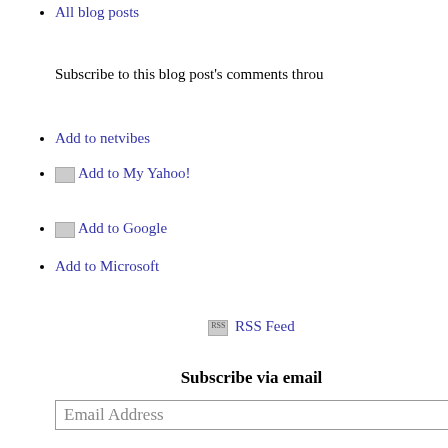All blog posts
Subscribe to this blog post's comments throu
Add to netvibes
Add to My Yahoo!
Add to Google
Add to Microsoft
RSS Feed
Subscribe via email
Email Address
Follow the discussion
Comments (9)
Logging you in...
Close
Login to IntenseDebate
Or create an account
Username or Email:
Password: